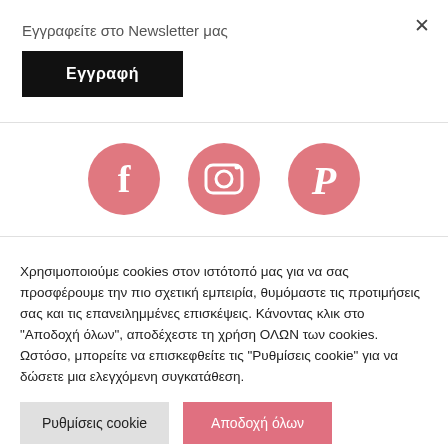Εγγραφείτε στο Newsletter μας
Εγγραφή
[Figure (illustration): Three pink circular social media icons: Facebook (f), Instagram (camera), Pinterest (P)]
Χρησιμοποιούμε cookies στον ιστότοπό μας για να σας προσφέρουμε την πιο σχετική εμπειρία, θυμόμαστε τις προτιμήσεις σας και τις επανειλημμένες επισκέψεις. Κάνοντας κλικ στο "Αποδοχή όλων", αποδέχεστε τη χρήση ΟΛΩΝ των cookies. Ωστόσο, μπορείτε να επισκεφθείτε τις "Ρυθμίσεις cookie" για να δώσετε μια ελεγχόμενη συγκατάθεση.
Ρυθμίσεις cookie
Αποδοχή όλων